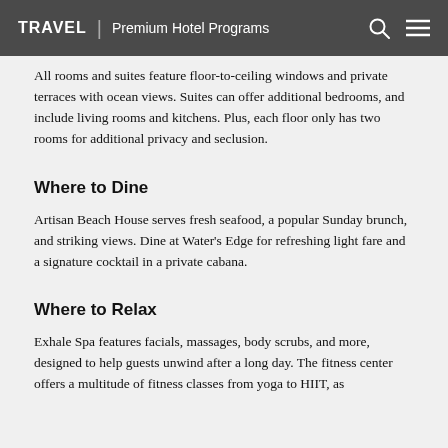TRAVEL | Premium Hotel Programs
All rooms and suites feature floor-to-ceiling windows and private terraces with ocean views. Suites can offer additional bedrooms, and include living rooms and kitchens. Plus, each floor only has two rooms for additional privacy and seclusion.
Where to Dine
Artisan Beach House serves fresh seafood, a popular Sunday brunch, and striking views. Dine at Water's Edge for refreshing light fare and a signature cocktail in a private cabana.
Where to Relax
Exhale Spa features facials, massages, body scrubs, and more, designed to help guests unwind after a long day. The fitness center offers a multitude of fitness classes from yoga to HIIT, as